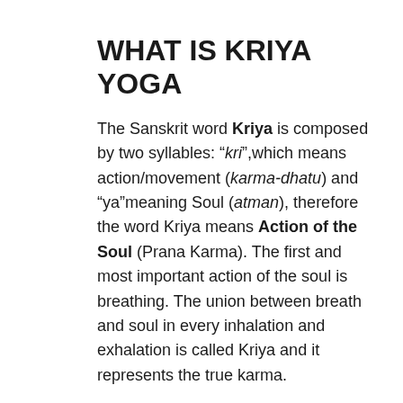WHAT IS KRIYA YOGA
The Sanskrit word Kriya is composed by two syllables: “kri”,which means action/movement (karma-dhatu) and “ya”meaning Soul (atman), therefore the word Kriya means Action of the Soul (Prana Karma). The first and most important action of the soul is breathing. The union between breath and soul in every inhalation and exhalation is called Kriya and it represents the true karma.
We find the origins of Kriya yoga in the Upanishads, but also in Patanjali’s “Yoga Sutras”, the reference book in the field of yoga.
Here, the discipline is defined as mastering